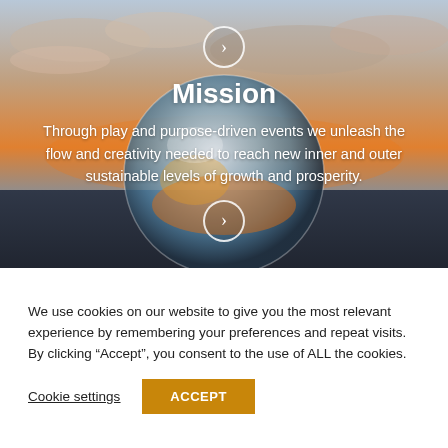[Figure (photo): Hero banner with a crystal ball reflecting a sunset sky over rocky ground, with a navigation arrow button at top center]
Mission
Through play and purpose-driven events we unleash the flow and creativity needed to reach new inner and outer sustainable levels of growth and prosperity.
We use cookies on our website to give you the most relevant experience by remembering your preferences and repeat visits. By clicking “Accept”, you consent to the use of ALL the cookies.